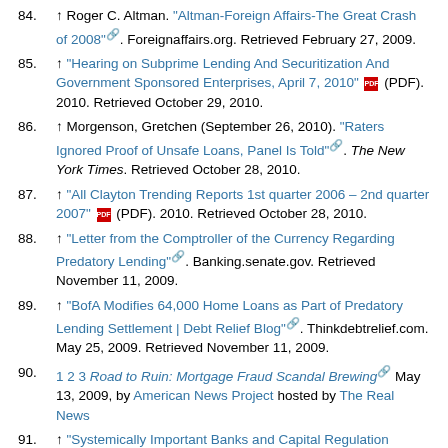84. ↑ Roger C. Altman. "Altman-Foreign Affairs-The Great Crash of 2008". Foreignaffairs.org. Retrieved February 27, 2009.
85. ↑ "Hearing on Subprime Lending And Securitization And Government Sponsored Enterprises, April 7, 2010" (PDF). 2010. Retrieved October 29, 2010.
86. ↑ Morgenson, Gretchen (September 26, 2010). "Raters Ignored Proof of Unsafe Loans, Panel Is Told". The New York Times. Retrieved October 28, 2010.
87. ↑ "All Clayton Trending Reports 1st quarter 2006 – 2nd quarter 2007" (PDF). 2010. Retrieved October 28, 2010.
88. ↑ "Letter from the Comptroller of the Currency Regarding Predatory Lending". Banking.senate.gov. Retrieved November 11, 2009.
89. ↑ "BofA Modifies 64,000 Home Loans as Part of Predatory Lending Settlement | Debt Relief Blog". Thinkdebtrelief.com. May 25, 2009. Retrieved November 11, 2009.
90. 1 2 3 Road to Ruin: Mortgage Fraud Scandal Brewing May 13, 2009, by American News Project hosted by The Real News
91. ↑ "Systemically Important Banks and Capital Regulation Challenges". oecd.org. Retrieved December 2011. Check date values in: |access-date= (help)
92. ↑ Federal Deposit Insurance Corporation, History of the Eighties – Lessons for the Future, Vol. 1. December